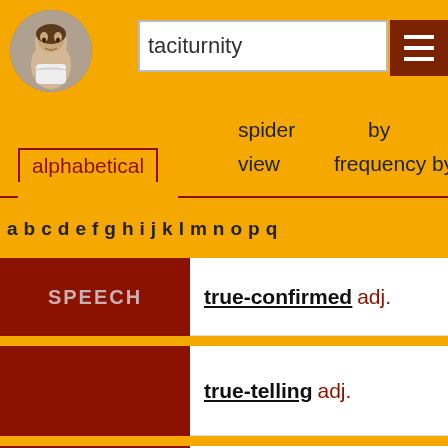[Figure (illustration): Circular portrait of Shakespeare in black and white]
taciturnity
alphabetical
spider view
by frequency by
a b c d e f g h i j k l m n o p q
| Category | Word |
| --- | --- |
| SPEECH | true-confirmed adj. |
| SPEECH | true-telling adj. |
| STATE | true-bred adj. |